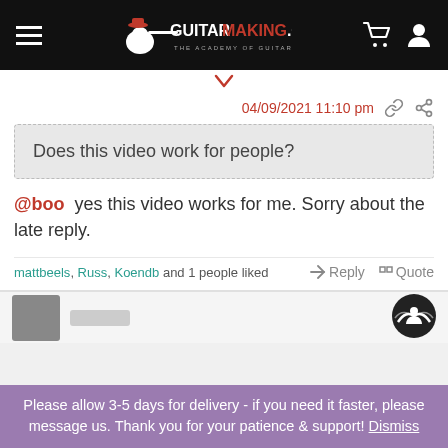GUITAR MAKING .CO.UK — THE ACADEMY OF GUITAR MAKING
04/09/2021 11:10 pm
Does this video work for people?
@boo  yes this video works for me. Sorry about the late reply.
mattbeels, Russ, Koendb and 1 people liked   Reply   Quote
Please allow 3-5 days for delivery - if you need it faster, please message us. Thank you for your patience & support! Dismiss